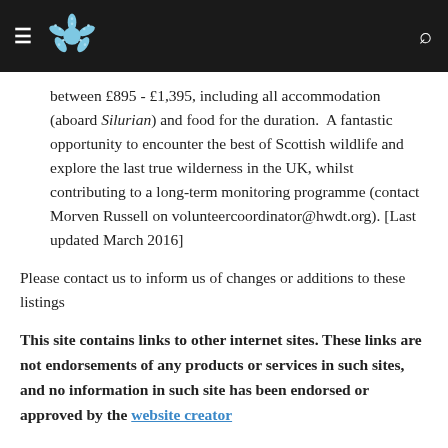Navigation bar with hamburger menu, starfish logo, and search icon
between £895 - £1,395, including all accommodation (aboard Silurian) and food for the duration.  A fantastic opportunity to encounter the best of Scottish wildlife and explore the last true wilderness in the UK, whilst contributing to a long-term monitoring programme (contact Morven Russell on volunteercoordinator@hwdt.org). [Last updated March 2016]
Please contact us to inform us of changes or additions to these listings
This site contains links to other internet sites. These links are not endorsements of any products or services in such sites, and no information in such site has been endorsed or approved by the website creator